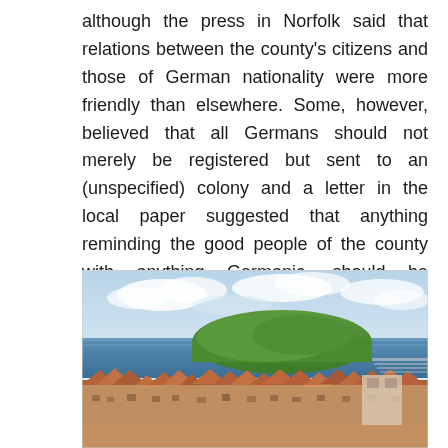although the press in Norfolk said that relations between the county's citizens and those of German nationality were more friendly than elsewhere. Some, however, believed that all Germans should not merely be registered but sent to an (unspecified) colony and a letter in the local paper suggested that anything reminding the good people of the county with anything Germanic, should be banned, including sausage dogs.
[Figure (photo): Aerial/elevated view of a British coastal town with terracotta rooftops, a green headland, blue sea, and cloudy sky. Likely a seaside town in England.]